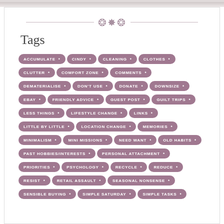Tags
ACCUMULATE
CINDY
CLEANING
CLOTHES
CLUTTER
COMFORT ZONE
COMMENTS
DEMATERIALISE
DON'T USE
DONATE
DOWNSIZE
EBAY
FRIENDLY ADVICE
GUEST POST
GUILT TRIPS
LESS THINGS
LIFESTYLE CHANGE
LINKS
LITTLE BY LITTLE
LOCATION CHANGE
MEMORIES
MINIMALISM
MINI MISSIONS
NEED WANT
OLD HABITS
PAST HOBBIES/INTERESTS
PERSONAL ATTACHMENT
PRIORITIES
PSYCHOLOGY
RECYCLE
REDUCE
RESIST
RETAIL ASSAULT
SEASONAL NONSENSE
SENSIBLE BUYING
SIMPLE SATURDAY
SIMPLE TASKS